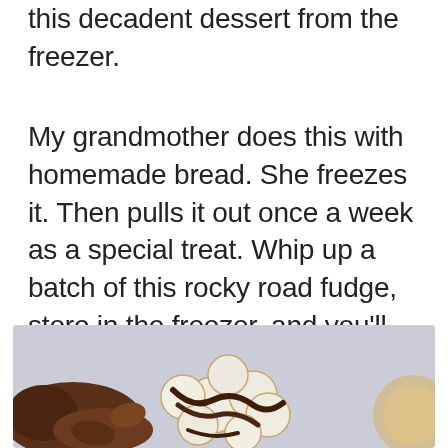this decadent dessert from the freezer.
My grandmother does this with homemade bread. She freezes it. Then pulls it out once a week as a special treat. Whip up a batch of this rocky road fudge, store in the freezer, and you'll have a tasty treat to look forward to every weekend!
[Figure (photo): Close-up photo of rocky road fudge pieces showing chocolate-coated marshmallows on a light gray background]